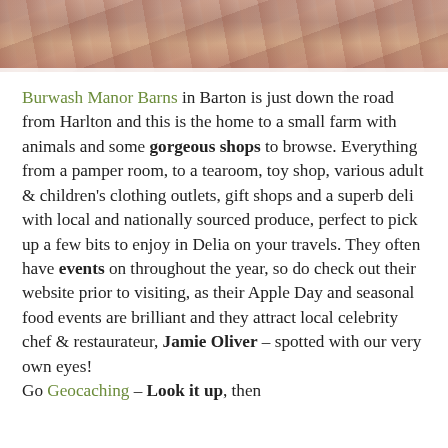[Figure (photo): Partial photo strip at top of page showing colorful items, possibly craft goods or market stall products with warm tones]
Burwash Manor Barns in Barton is just down the road from Harlton and this is the home to a small farm with animals and some gorgeous shops to browse. Everything from a pamper room, to a tearoom, toy shop, various adult & children's clothing outlets, gift shops and a superb deli with local and nationally sourced produce, perfect to pick up a few bits to enjoy in Delia on your travels. They often have events on throughout the year, so do check out their website prior to visiting, as their Apple Day and seasonal food events are brilliant and they attract local celebrity chef & restaurateur, Jamie Oliver – spotted with our very own eyes!
Go Geocaching – Look it up, then